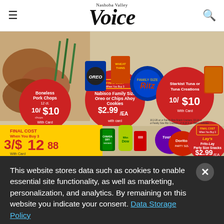Nashoba Valley Voice
[Figure (screenshot): Grocery store circular advertisement showing deals: Boneless Pork Chops 10/$10 With Card; Nabisco Family Size Oreo or Chips Ahoy Cookies $2.99/EA With Card (FINAL COST When You Buy 3); Starkist Tuna or Tuna Creations 10/$10 With Card; Coca-Cola, Mountain Dew or Canada Dry 3/$12.88 With Card (FINAL COST When You Buy 3); Frito-Lay Party Size Snacks $2.99/EA With Card (FINAL COST When You Buy 3) including Tostitos and Doritos; Ritz Family Size crackers also shown.]
This website stores data such as cookies to enable essential site functionality, as well as marketing, personalization, and analytics. By remaining on this website you indicate your consent. Data Storage Policy